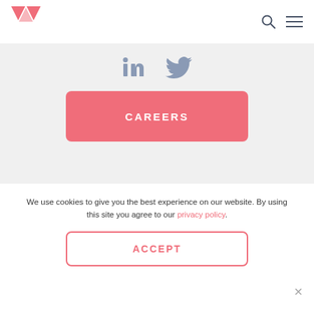[Figure (logo): Red/pink double-triangle W logo in top left]
[Figure (screenshot): Search icon (magnifying glass) and hamburger menu icon in top right]
[Figure (screenshot): LinkedIn and Twitter social media icons centered]
CAREERS
Ethical Standards  |  Privacy Policy
Registered address: 10 Polperro Mews,
We use cookies to give you the best experience on our website. By using this site you agree to our privacy policy.
ACCEPT